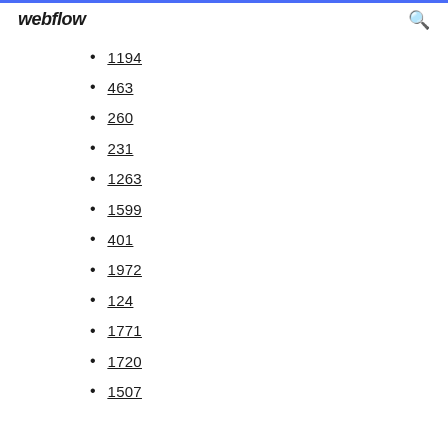webflow
1194
463
260
231
1263
1599
401
1972
124
1771
1720
1507